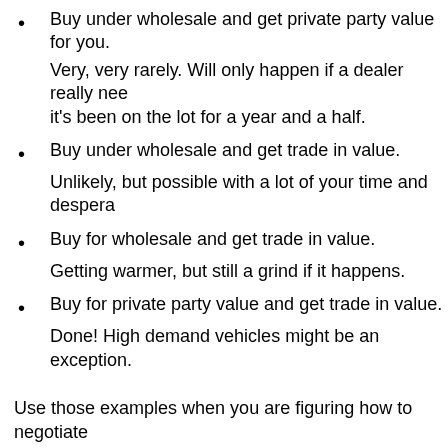Buy under wholesale and get private party value for you. Very, very rarely. Will only happen if a dealer really needs it's been on the lot for a year and a half.
Buy under wholesale and get trade in value. Unlikely, but possible with a lot of your time and despera…
Buy for wholesale and get trade in value. Getting warmer, but still a grind if it happens.
Buy for private party value and get trade in value. Done! High demand vehicles might be an exception.
Use those examples when you are figuring how to negotiate every dealer is different. Some might say yes to the crazies couldn't know. On the other hand, some may be insulted by y
Top